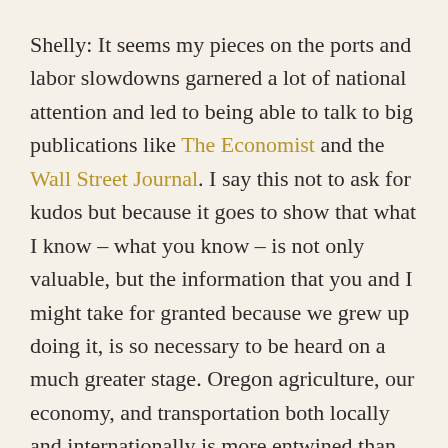Shelly: It seems my pieces on the ports and labor slowdowns garnered a lot of national attention and led to being able to talk to big publications like The Economist and the Wall Street Journal. I say this not to ask for kudos but because it goes to show that what I know – what you know – is not only valuable, but the information that you and I might take for granted because we grew up doing it, is so necessary to be heard on a much greater stage. Oregon agriculture, our economy, and transportation both locally and internationally is more entwined than we thought, and now we're realizing. It. You mentioned your response to the Toxic Wheat blog post. That blog that you wrote made it onto the Huffington Post, which is crazy! But, isn't that what we want? Our story to be shared in homes that it is on the outside world by different...